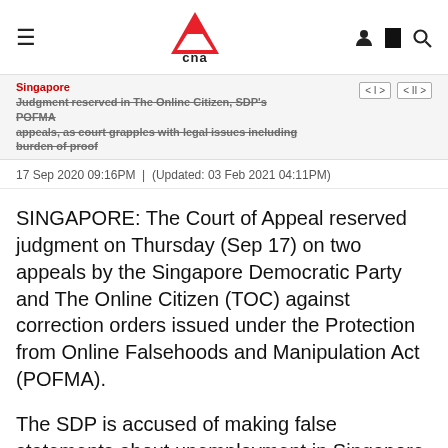CNA
Singapore
Judgment reserved in The Online Citizen, SDP's POFMA appeals, as court grapples with legal issues including burden of proof
17 Sep 2020 09:16PM  |  (Updated: 03 Feb 2021 04:11PM)
SINGAPORE: The Court of Appeal reserved judgment on Thursday (Sep 17) on two appeals by the Singapore Democratic Party and The Online Citizen (TOC) against correction orders issued under the Protection from Online Falsehoods and Manipulation Act (POFMA).
The SDP is accused of making false statements about unemployment in Singapore, while TOC is alleged to have made a false statement about hanging methods at Changi Prison.